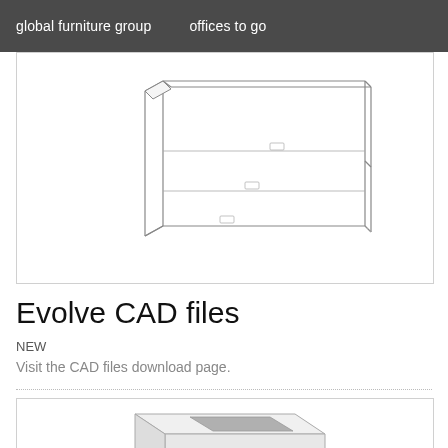global furniture group    offices to go
[Figure (illustration): Line drawing / schematic illustration of an Evolve furniture panel or storage unit shown in isometric perspective, with vertical end panels and horizontal shelves, rendered in light gray outlines on white background.]
Evolve CAD files
NEW
Visit the CAD files download page.
[Figure (illustration): Partial isometric illustration of a furniture component (appears to be a desk or surface element with a gray fabric/material inset) shown cropped at bottom of page.]